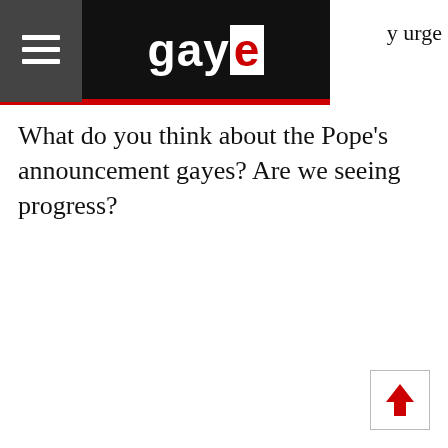gaye
y urge
What do you think about the Pope's announcement gayes? Are we seeing progress?